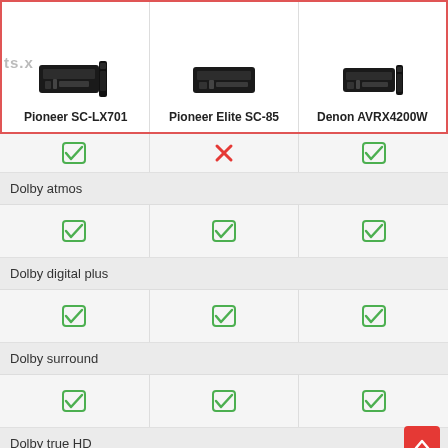| Pioneer SC-LX701 | Pioneer Elite SC-85 | Denon AVRX4200W |
| --- | --- | --- |
| ✓ | ✗ | ✓ |
| Dolby atmos |  |  |
| ✓ | ✓ | ✓ |
| Dolby digital plus |  |  |
| ✓ | ✓ | ✓ |
| Dolby surround |  |  |
| ✓ | ✓ | ✓ |
| Dolby true HD |  |  |